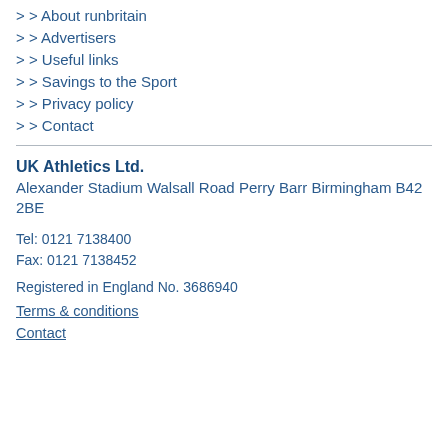> About runbritain
> Advertisers
> Useful links
> Savings to the Sport
> Privacy policy
> Contact
UK Athletics Ltd.
Alexander Stadium Walsall Road Perry Barr Birmingham B42 2BE
Tel: 0121 7138400
Fax: 0121 7138452
Registered in England No. 3686940
Terms & conditions
Contact